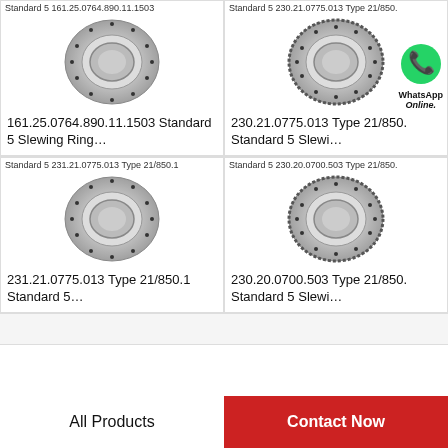Standard 5 161.25.0764.890.11.1503
Standard 5 230.21.0775.013 Type 21/850.
[Figure (photo): Slewing ring bearing, flat ring with bolt holes, metallic silver finish]
[Figure (photo): Slewing ring bearing with external gear teeth, with WhatsApp Online overlay]
161.25.0764.890.11.1503 Standard 5 Slewing Ring…
230.21.0775.013 Type 21/850. Standard 5 Slewi…
Standard 5 231.21.0775.013 Type 21/850.1
Standard 5 230.20.0700.503 Type 21/850.
[Figure (photo): Slewing ring bearing, flat ring with bolt holes, metallic silver finish]
[Figure (photo): Slewing ring bearing with external gear teeth]
231.21.0775.013 Type 21/850.1 Standard 5…
230.20.0700.503 Type 21/850. Standard 5 Slewi…
All Products
Contact Now